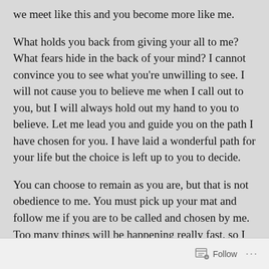we meet like this and you become more like me.
What holds you back from giving your all to me? What fears hide in the back of your mind? I cannot convince you to see what you're unwilling to see. I will not cause you to believe me when I call out to you, but I will always hold out my hand to you to believe. Let me lead you and guide you on the path I have chosen for you. I have laid a wonderful path for your life but the choice is left up to you to decide.
You can choose to remain as you are, but that is not obedience to me. You must pick up your mat and follow me if you are to be called and chosen by me. Too many things will be happening really fast, so I lay this decision at your feet right now. This is the time to give your whole heart to me. This is the time
Follow ...